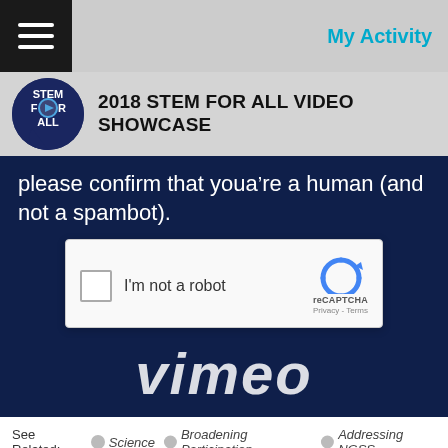My Activity
2018 STEM FOR ALL VIDEO SHOWCASE
please confirm that youâ€™re a human (and not a spambot).
[Figure (screenshot): reCAPTCHA widget with checkbox labeled 'I'm not a robot' and reCAPTCHA logo with Privacy and Terms links]
[Figure (screenshot): Vimeo logo text watermark in white on dark navy background]
See Related:  Science  Broadening Participation  Addressing NGSS
ELIZABETH WRIGHT
Pennsylvania State University, University of South Carolina, American Museum of Natural History